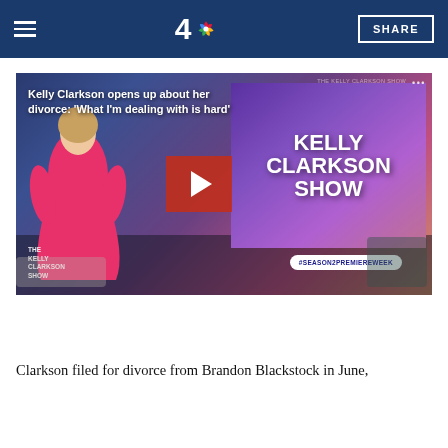NBC 4 — SHARE
[Figure (screenshot): Video thumbnail of Kelly Clarkson show with overlay title 'Kelly Clarkson opens up about her divorce: What I'm dealing with is hard', showing Kelly Clarkson in pink dress in front of Kelly Clarkson Show set with play button overlay and #SEASON2PREMIEREWEEK tag]
Clarkson filed for divorce from Brandon Blackstock in June,